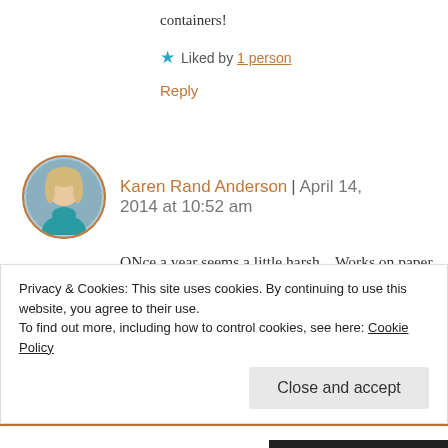containers!
★ Liked by 1 person
Reply
[Figure (photo): Circular avatar photo of Karen Rand Anderson, a woman with blonde hair wearing a teal top, framed with an orange-red circular border]
Karen Rand Anderson | April 14, 2014 at 10:52 am
ONce a year seems a little harsh... Works on paper are a lot easier to deal with than weird and bulky found object
Privacy & Cookies: This site uses cookies. By continuing to use this website, you agree to their use.
To find out more, including how to control cookies, see here: Cookie Policy
Close and accept